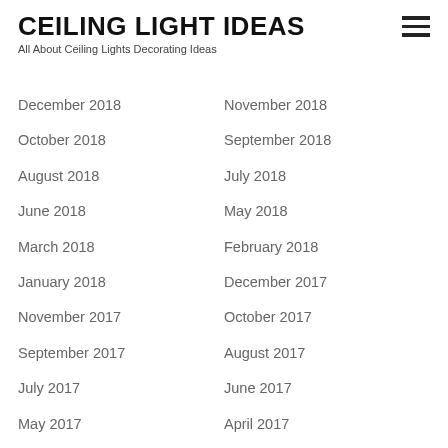CEILING LIGHT IDEAS
All About Ceiling Lights Decorating Ideas
December 2018
November 2018
October 2018
September 2018
August 2018
July 2018
June 2018
May 2018
March 2018
February 2018
January 2018
December 2017
November 2017
October 2017
September 2017
August 2017
July 2017
June 2017
May 2017
April 2017
March 2017
February 2017
January 2017
December 2016